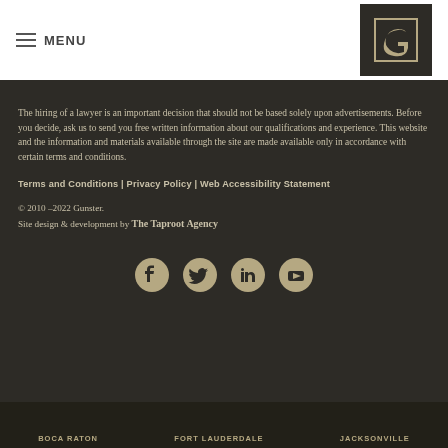MENU
[Figure (logo): Gunster law firm logo — stylized G letter in gold/olive color on dark square background]
The hiring of a lawyer is an important decision that should not be based solely upon advertisements. Before you decide, ask us to send you free written information about our qualifications and experience. This website and the information and materials available through the site are made available only in accordance with certain terms and conditions.
Terms and Conditions | Privacy Policy | Web Accessibility Statement
© 2010 –2022 Gunster.
Site design & development by The Taproot Agency
[Figure (infographic): Row of four social media icon circles (Facebook, Twitter, LinkedIn, YouTube) in tan/gold color]
BOCA RATON   FORT LAUDERDALE   JACKSONVILLE